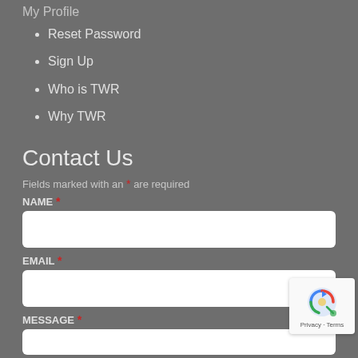My Profile
Reset Password
Sign Up
Who is TWR
Why TWR
Contact Us
Fields marked with an * are required
NAME *
EMAIL *
MESSAGE *